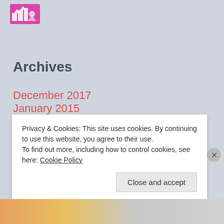[Figure (logo): Pink/magenta logo icon with geometric shapes resembling buildings or a crest]
Archives
December 2017
January 2015
November 2014
October 2014
Privacy & Cookies: This site uses cookies. By continuing to use this website, you agree to their use. To find out more, including how to control cookies, see here: Cookie Policy
Close and accept